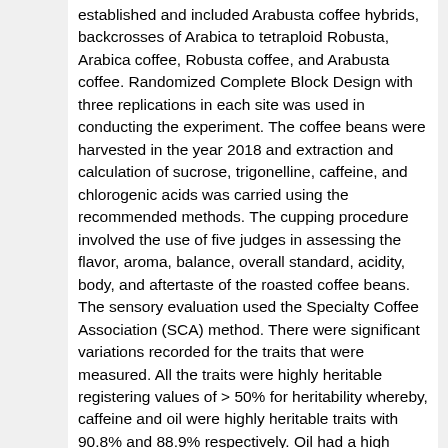established and included Arabusta coffee hybrids, backcrosses of Arabica to tetraploid Robusta, Arabica coffee, Robusta coffee, and Arabusta coffee. Randomized Complete Block Design with three replications in each site was used in conducting the experiment. The coffee beans were harvested in the year 2018 and extraction and calculation of sucrose, trigonelline, caffeine, and chlorogenic acids was carried using the recommended methods. The cupping procedure involved the use of five judges in assessing the flavor, aroma, balance, overall standard, acidity, body, and aftertaste of the roasted coffee beans. The sensory evaluation used the Specialty Coffee Association (SCA) method. There were significant variations recorded for the traits that were measured. All the traits were highly heritable registering values of > 50% for heritability whereby, caffeine and oil were highly heritable traits with 90.8% and 88.9% respectively. Oil had a high phenotypic coefficient of variation, genotypic variation, and response values when compared to the other traits. All the organoleptic traits were positively correlated with sucrose, trigonelline, and oil but the correlation with caffeine and chlorogenic acids was negative. The genotypic effects contributed largely to the high heritability recorded with a low influence from the